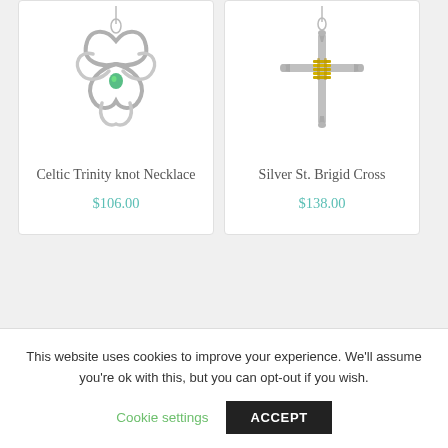[Figure (photo): Celtic Trinity knot Necklace - silver pendant with green gemstone on chain]
Celtic Trinity knot Necklace
$106.00
[Figure (photo): Silver St. Brigid Cross pendant with gold wrapping on chain]
Silver St. Brigid Cross
$138.00
This website uses cookies to improve your experience. We'll assume you're ok with this, but you can opt-out if you wish.
Cookie settings
ACCEPT